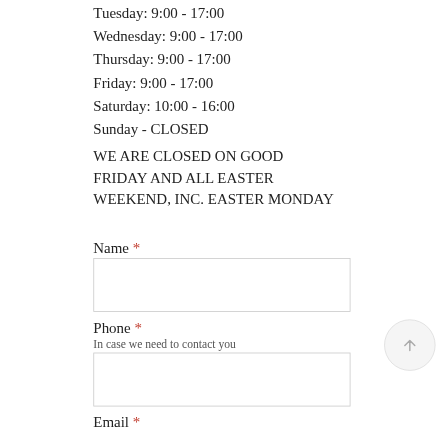Tuesday: 9:00 - 17:00
Wednesday: 9:00 - 17:00
Thursday: 9:00 - 17:00
Friday: 9:00 - 17:00
Saturday: 10:00 - 16:00
Sunday - CLOSED
WE ARE CLOSED ON GOOD FRIDAY AND ALL EASTER WEEKEND, INC. EASTER MONDAY
Name *
Phone *
In case we need to contact you
Email *